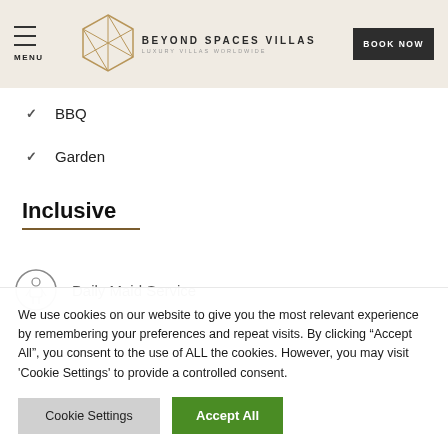MENU | BEYOND SPACES VILLAS | BOOK NOW
BBQ
Garden
Inclusive
Daily Maid Service
We use cookies on our website to give you the most relevant experience by remembering your preferences and repeat visits. By clicking "Accept All", you consent to the use of ALL the cookies. However, you may visit 'Cookie Settings' to provide a controlled consent.